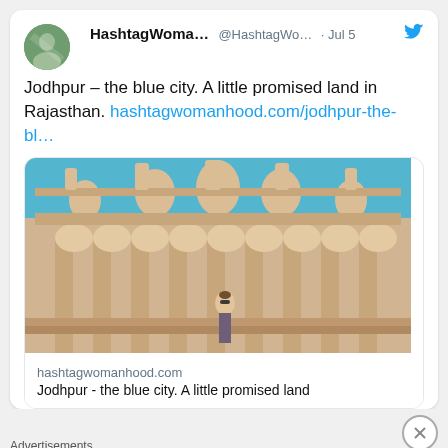HashtagWoma... @HashtagWo... · Jul 5
Jodhpur – the blue city. A little promised land in Rajasthan. hashtagwomanhood.com/jodhpur-the-bl…
[Figure (photo): Photo of an ornate sandstone palace/temple building in Jodhpur with a woman standing in front, against a blue sky. Link card showing hashtagwomanhood.com — Jodhpur - the blue city. A little promised land]
Advertisements
[Figure (infographic): WooCommerce advertisement banner — Turn your hobby into a business in 8 steps]